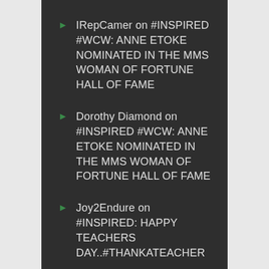IRepCamer on #INSPIRED #WCW: ANNE ETOKE NOMINATED IN THE MMS WOMAN OF FORTUNE HALL OF FAME
Dorothy Diamond on #INSPIRED #WCW: ANNE ETOKE NOMINATED IN THE MMS WOMAN OF FORTUNE HALL OF FAME
Joy2Endure on #INSPIRED: HAPPY TEACHERS DAY..#THANKATEACHER